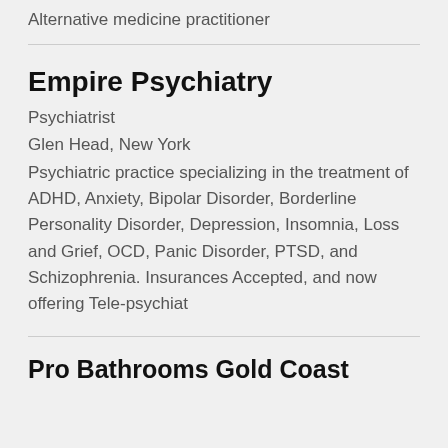Alternative medicine practitioner
Empire Psychiatry
Psychiatrist
Glen Head, New York
Psychiatric practice specializing in the treatment of ADHD, Anxiety, Bipolar Disorder, Borderline Personality Disorder, Depression, Insomnia, Loss and Grief, OCD, Panic Disorder, PTSD, and Schizophrenia. Insurances Accepted, and now offering Tele-psychiat
Pro Bathrooms Gold Coast